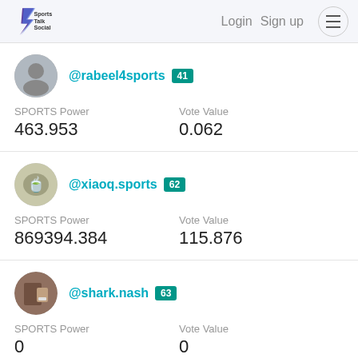Sports Talk Social — Login  Sign up
@rabeel4sports 41 | SPORTS Power: 463.953 | Vote Value: 0.062
@xiaoq.sports 62 | SPORTS Power: 869394.384 | Vote Value: 115.876
@shark.nash 63 | SPORTS Power: 0 | Vote Value: 0
@yourdude 55